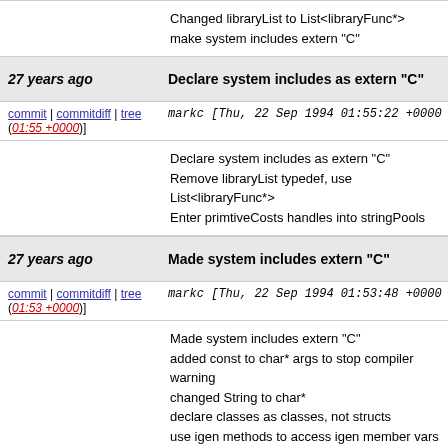Changed libraryList to List<libraryFunc*>
make system includes extern "C"
27 years ago | Declare system includes as extern "C"
commit | commitdiff | tree (01:55 +0000)] markc [Thu, 22 Sep 1994 01:55:22 +0000
Declare system includes as extern "C"
Remove libraryList typedef, use List<libraryFunc*>
Enter primtiveCosts handles into stringPools
27 years ago | Made system includes extern "C"
commit | commitdiff | tree (01:53 +0000)] markc [Thu, 22 Sep 1994 01:53:48 +0000
Made system includes extern "C"
added const to char* args to stop compiler warning
changed String to char*
declare classes as classes, not structs
use igen methods to access igen member vars
27 years ago | Added most of dyninst.h, temporary
commit | commitdiff | tree (01:51 +0000)] markc [Thu, 22 Sep 1994 01:51:40 +0000